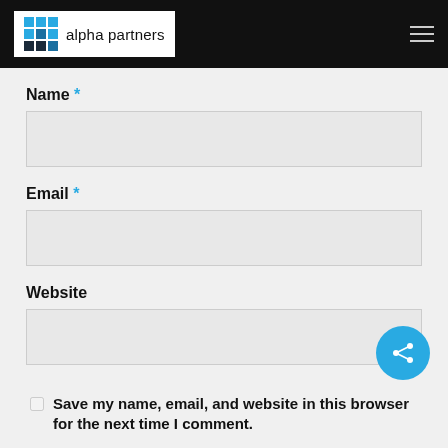alpha partners
Name *
Email *
Website
Save my name, email, and website in this browser for the next time I comment.